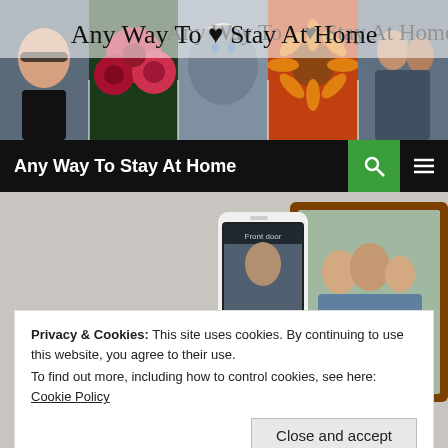[Figure (photo): Blog header banner with title 'Any Way To ♥ Stay At Home' overlaid on a collage of photos: a woman with glasses, red roses, a baby, a sunflower, and a family.]
Any Way To Stay At Home
[Figure (photo): Smartphone showing a doorbell camera app and a framed family photo, displayed on a gray background.]
Privacy & Cookies: This site uses cookies. By continuing to use this website, you agree to their use.
To find out more, including how to control cookies, see here: Cookie Policy
Close and accept